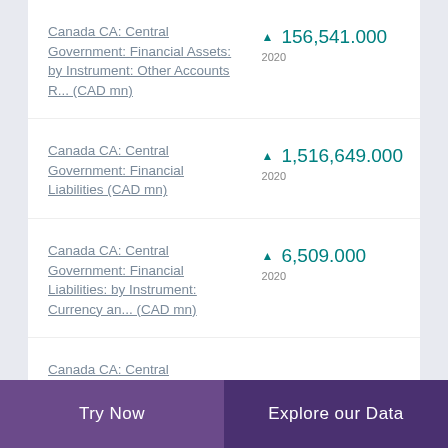Canada CA: Central Government: Financial Assets: by Instrument: Other Accounts R... (CAD mn)
Canada CA: Central Government: Financial Liabilities (CAD mn)
Canada CA: Central Government: Financial Liabilities: by Instrument: Currency an... (CAD mn)
Canada CA: Central
Try Now  |  Explore our Data